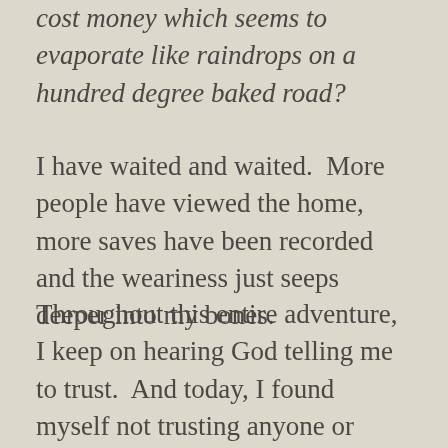cost money which seems to evaporate like raindrops on a hundred degree baked road?
I have waited and waited.  More people have viewed the home, more saves have been recorded and the weariness just seeps deeper into my bones.
Throughout this entire adventure, I keep on hearing God telling me to trust.  And today, I found myself not trusting anyone or anything.  I just stumbled from one landmark to another, trying to find some modicum of normal life.